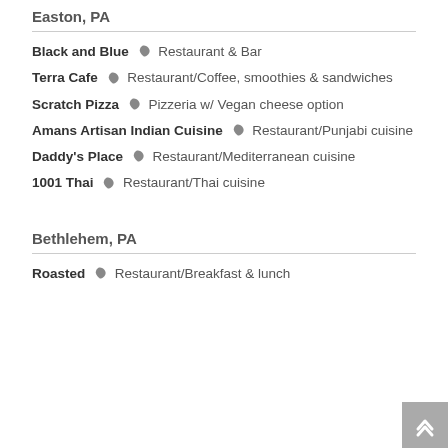Easton, PA
Black and Blue  🌿  Restaurant & Bar
Terra Cafe  🌿  Restaurant/Coffee, smoothies & sandwiches
Scratch Pizza  🌿  Pizzeria w/ Vegan cheese option
Amans Artisan Indian Cuisine  🌿  Restaurant/Punjabi cuisine
Daddy's Place  🌿  Restaurant/Mediterranean cuisine
1001 Thai  🌿  Restaurant/Thai cuisine
Bethlehem, PA
Roasted  🌿  Restaurant/Breakfast & lunch